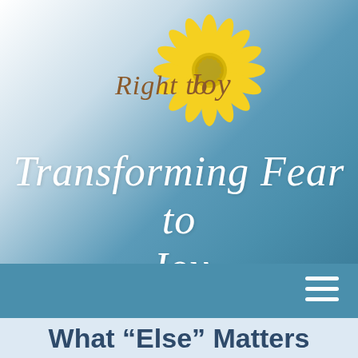[Figure (logo): Right to Joy logo with sunflower and script text]
Transforming Fear to Joy
[Figure (other): Navigation bar with hamburger menu icon]
What “Else” Matters No Matter What